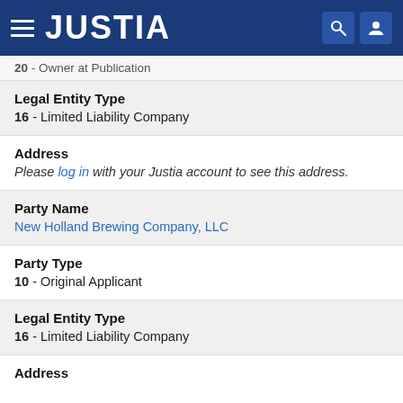JUSTIA
20 - Owner at Publication
Legal Entity Type
16 - Limited Liability Company
Address
Please log in with your Justia account to see this address.
Party Name
New Holland Brewing Company, LLC
Party Type
10 - Original Applicant
Legal Entity Type
16 - Limited Liability Company
Address